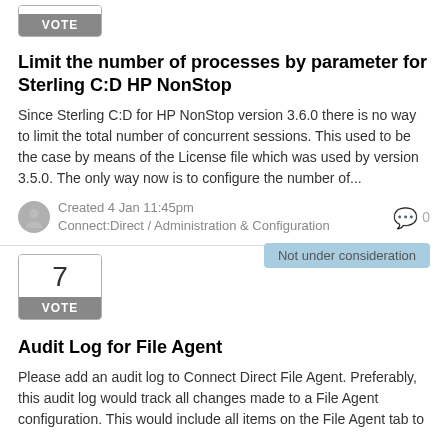[Figure (other): Vote box with number (partially visible at top) and VOTE button]
Limit the number of processes by parameter for Sterling C:D HP NonStop
Since Sterling C:D for HP NonStop version 3.6.0 there is no way to limit the total number of concurrent sessions. This used to be the case by means of the License file which was used by version 3.5.0. The only way now is to configure the number of...
Created 4 Jan 11:45pm
Connect:Direct / Administration & Configuration
0
Not under consideration
[Figure (other): Vote box showing number 7 and VOTE button]
Audit Log for File Agent
Please add an audit log to Connect Direct File Agent. Preferably, this audit log would track all changes made to a File Agent configuration. This would include all items on the File Agent tab to